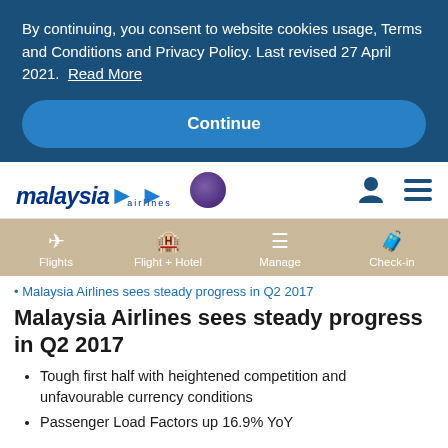By continuing, you consent to website cookies usage, Terms and Conditions and Privacy Policy. Last revised 27 April 2021. Read More
Continue
[Figure (logo): Malaysia Airlines logo with oneworld alliance circle and navigation icons]
[Figure (infographic): Navigation menu bar with tan/beige background showing Flights, Flight + Hotel, Manage, Check-in icons]
Malaysia Airlines sees steady progress in Q2 2017
Malaysia Airlines sees steady progress in Q2 2017
Tough first half with heightened competition and unfavourable currency conditions
Passenger Load Factors up 16.9% YoY